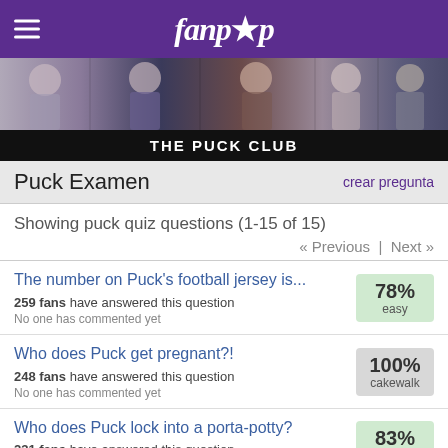fanpop
[Figure (photo): Banner collage of photos of Puck character from Glee, showing multiple poses]
THE PUCK CLUB
Puck Examen  crear pregunta
Showing puck quiz questions (1-15 of 15)
« Previous  |  Next »
The number on Puck's football jersey is...  259 fans have answered this question  No one has commented yet  78% easy
Who does Puck get pregnant?!  248 fans have answered this question  No one has commented yet  100% cakewalk
Who does Puck lock into a porta-potty?  231 fans have answered this question  No one has commented yet  83% easy
In the pilot, who does Puck throw into the dumpster?  88%